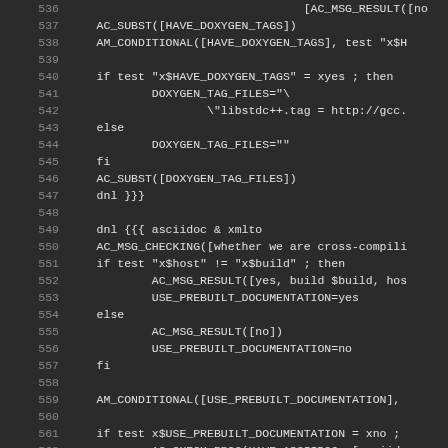[Figure (screenshot): Source code editor screenshot showing shell/autoconf script lines 536-563 with dark background theme. Line numbers in grey on left, code in white/light grey on right.]